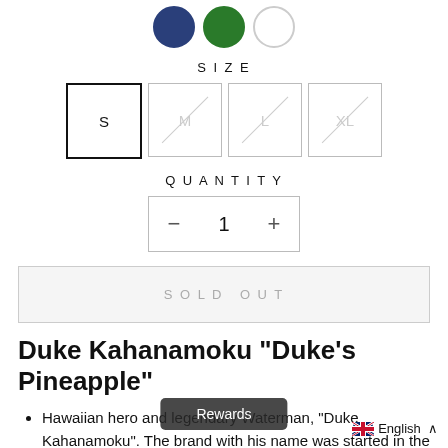[Figure (illustration): Three circular color swatches: navy blue, green, and white/light gray]
SIZE
[Figure (illustration): Four size selector buttons: S (selected, black border), M (crossed out, grayed), L (crossed out, grayed), XL (crossed out, grayed)]
QUANTITY
[Figure (illustration): Quantity stepper control showing: minus button, 1, plus button]
SOLD OUT
Duke Kahanamoku "Duke's Pineapple"
Hawaiian hero and legendary Waterman, "Duke Kahanamoku". The brand with his name was started in the 1930s, and he himself became billboard
Rewards
English